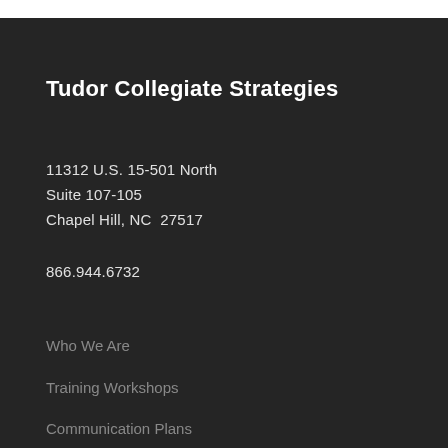Tudor Collegiate Strategies
11312 U.S. 15-501 North
Suite 107-105
Chapel Hill, NC  27517
866.944.6732
Who We Are
Training Workshops
Communication Plans